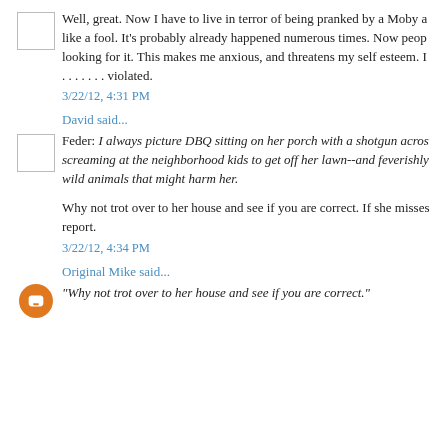Well, great. Now I have to live in terror of being pranked by a Moby a like a fool. It's probably already happened numerous times. Now peop looking for it. This makes me anxious, and threatens my self esteem. I . . . . . . . violated.
3/22/12, 4:31 PM
David said...
Feder: I always picture DBQ sitting on her porch with a shotgun acros screaming at the neighborhood kids to get off her lawn--and feverishly wild animals that might harm her.
Why not trot over to her house and see if you are correct. If she misses report.
3/22/12, 4:34 PM
Original Mike said...
"Why not trot over to her house and see if you are correct."